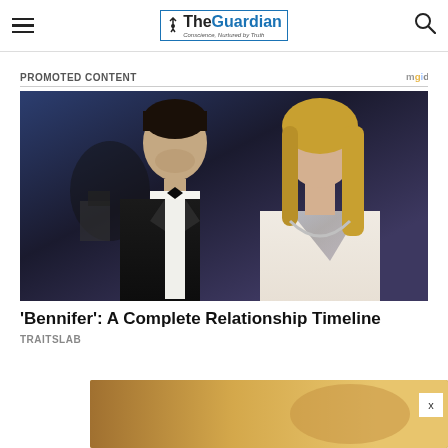The Guardian — Conscience, Nurtured by Truth
PROMOTED CONTENT
[Figure (photo): Ben Affleck in a black tuxedo and Jennifer Lopez in a white low-cut gown posing together at what appears to be a formal event, with a dark blue/purple background and a photographer visible in the background.]
'Bennifer': A Complete Relationship Timeline
TRAITSLAB
[Figure (photo): Partially visible image at bottom of page showing a warm golden/amber toned scene, partially obscured with a close button (x).]